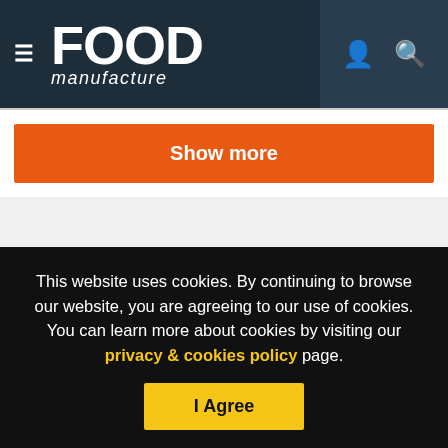FOOD manufacture
Show more
FOLLOW US
[Figure (other): Row of social media circular icons: Facebook (dark blue), Twitter (light blue), LinkedIn (blue), Google+ (gray)]
This website uses cookies. By continuing to browse our website, you are agreeing to our use of cookies. You can learn more about cookies by visiting our privacy & cookies policy page.
I Agree